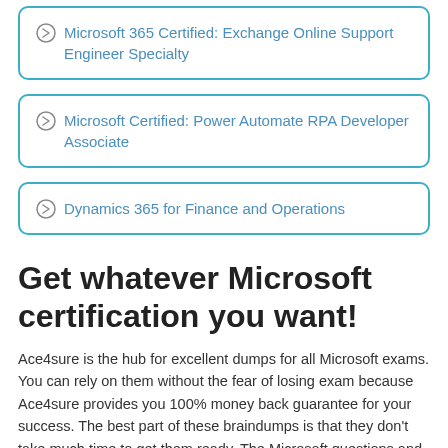Microsoft 365 Certified: Exchange Online Support Engineer Specialty
Microsoft Certified: Power Automate RPA Developer Associate
Dynamics 365 for Finance and Operations
Get whatever Microsoft certification you want!
Ace4sure is the hub for excellent dumps for all Microsoft exams. You can rely on them without the fear of losing exam because Ace4sure provides you 100% money back guarantee for your success. The best part of these braindumps is that they don't take much time to get them ready. The Microsoft questions and answers